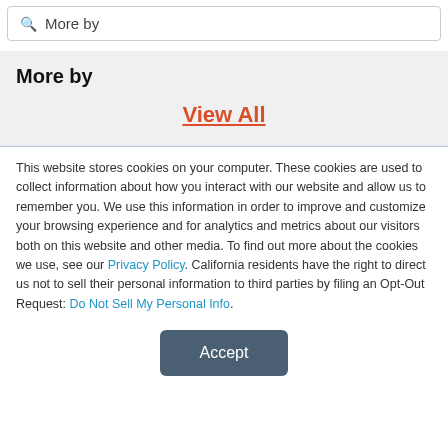More by
More by
View All
This website stores cookies on your computer. These cookies are used to collect information about how you interact with our website and allow us to remember you. We use this information in order to improve and customize your browsing experience and for analytics and metrics about our visitors both on this website and other media. To find out more about the cookies we use, see our Privacy Policy. California residents have the right to direct us not to sell their personal information to third parties by filing an Opt-Out Request: Do Not Sell My Personal Info.
Accept